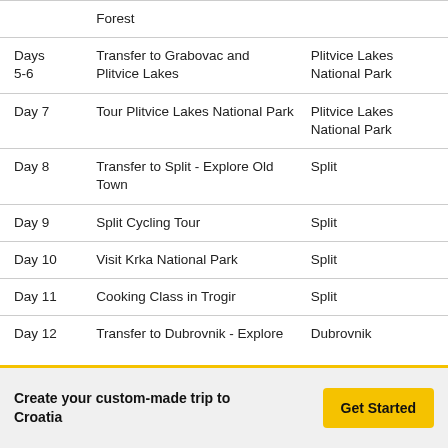| Day | Activity | Location |
| --- | --- | --- |
|  | Forest |  |
| Days 5-6 | Transfer to Grabovac and Plitvice Lakes | Plitvice Lakes National Park |
| Day 7 | Tour Plitvice Lakes National Park | Plitvice Lakes National Park |
| Day 8 | Transfer to Split - Explore Old Town | Split |
| Day 9 | Split Cycling Tour | Split |
| Day 10 | Visit Krka National Park | Split |
| Day 11 | Cooking Class in Trogir | Split |
| Day 12 | Transfer to Dubrovnik - Explore | Dubrovnik |
Create your custom-made trip to Croatia